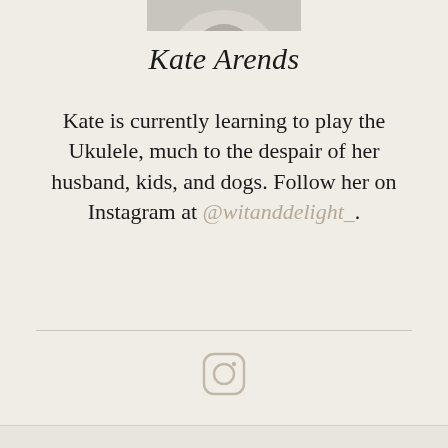[Figure (photo): Bottom portion of a black and white portrait photo of Kate Arends, cropped at the top]
Kate Arends
Kate is currently learning to play the Ukulele, much to the despair of her husband, kids, and dogs. Follow her on Instagram at @witanddelight_.
[Figure (logo): Instagram icon — rounded square with circle and dot, in tan/beige color]